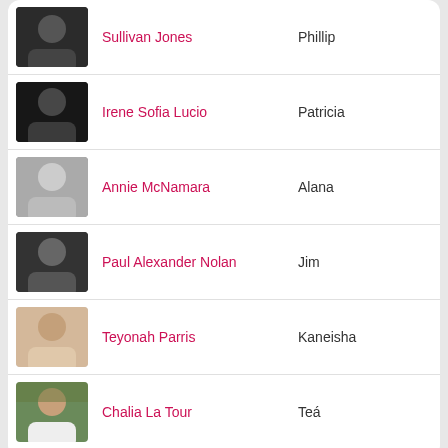Sullivan Jones — Phillip
Irene Sofia Lucio — Patricia
Annie McNamara — Alana
Paul Alexander Nolan — Jim
Teyonah Parris — Kaneisha
Chalia La Tour — Teá
Awards
|  | Award | Person / Company | Function |
| --- | --- | --- | --- |
| 1 NOMINATED | 2019 Lucille Lortel Award, Outstanding Play | New York Theatre Workshop | Producer |
|  |  | Jeremy O. Harris | Playwright |